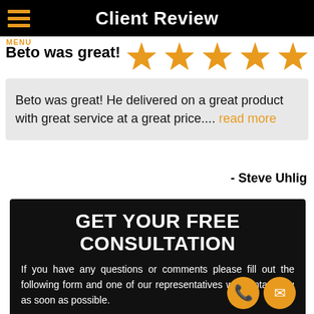Client Review
Beto was great!
[Figure (other): Five gold star rating icons]
Beto was great! He delivered on a great product with great service at a great price.... read more
- Steve Uhlig
GET YOUR FREE CONSULTATION
If you have any questions or comments please fill out the following form and one of our representatives will contact you as soon as possible.
Full Name